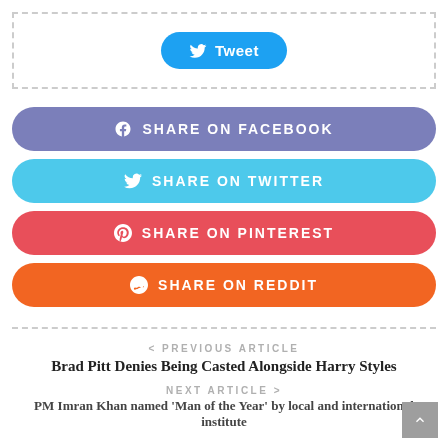[Figure (screenshot): Tweet button with Twitter bird icon, inside a dashed border box]
[Figure (infographic): Four social share buttons: Share on Facebook (purple), Share on Twitter (cyan), Share on Pinterest (red), Share on Reddit (orange)]
< PREVIOUS ARTICLE
Brad Pitt Denies Being Casted Alongside Harry Styles
NEXT ARTICLE >
PM Imran Khan named 'Man of the Year' by local and international institute